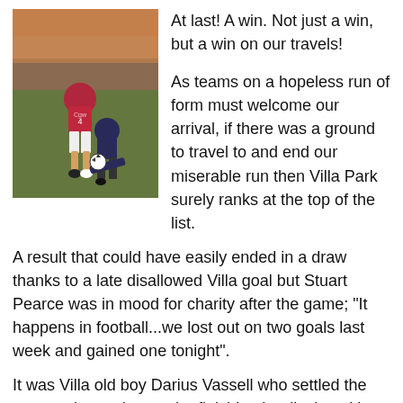[Figure (photo): Action photo of a football/soccer match showing two players competing for the ball, one in a claret/red Aston Villa kit and one in a dark kit, on a stadium pitch with crowd in background.]
At last! A win. Not just a win, but a win on our travels!
As teams on a hopeless run of form must welcome our arrival, if there was a ground to travel to and end our miserable run then Villa Park surely ranks at the top of the list.
A result that could have easily ended in a draw thanks to a late disallowed Villa goal but Stuart Pearce was in mood for charity after the game; "It happens in football...we lost out on two goals last week and gained one tonight".
It was Villa old boy Darius Vassell who settled the contest, improving on the finishing he displayed in the FA Cup tie earlier in the season and backing up my 'due a big game'